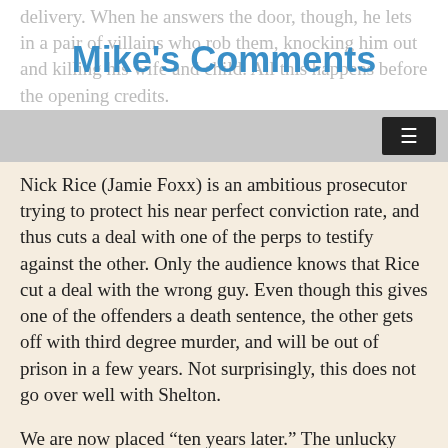Mike's Comments
delivery. When he answers the door, though, he lets in a pair of villains who rob them, knocking him out and killing his wife and child. All this happens before the opening credits.
Nick Rice (Jamie Foxx) is an ambitious prosecutor trying to protect his near perfect conviction rate, and thus cuts a deal with one of the perps to testify against the other. Only the audience knows that Rice cut a deal with the wrong guy. Even though this gives one of the offenders a death sentence, the other gets off with third degree murder, and will be out of prison in a few years. Not surprisingly, this does not go over well with Shelton.
We are now placed “ten years later.” The unlucky perp is about to be executed via lethal injection, and this is witnessed by Rice, his assistant, and the somewhat sleazy defense attorney who represented Darby, the lucky perp. When what was supposed to be a painless experience proves to be anything but—much to the horror of those present—and Darby’s body is found in